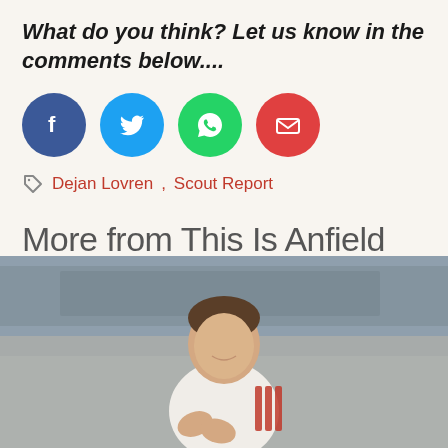What do you think? Let us know in the comments below....
[Figure (other): Social media share buttons: Facebook (blue circle), Twitter (light blue circle), WhatsApp (green circle), Email (red circle)]
Dejan Lovren, Scout Report
More from This Is Anfield
[Figure (photo): Young male footballer in white and red kit, smiling and clapping, with blurred stadium background]